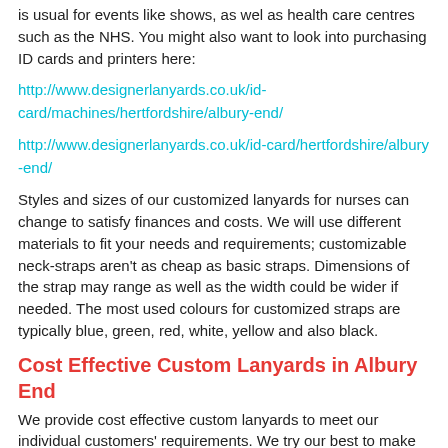is usual for events like shows, as wel as health care centres such as the NHS. You might also want to look into purchasing ID cards and printers here:
http://www.designerlanyards.co.uk/id-card/machines/hertfordshire/albury-end/
http://www.designerlanyards.co.uk/id-card/hertfordshire/albury-end/
Styles and sizes of our customized lanyards for nurses can change to satisfy finances and costs. We will use different materials to fit your needs and requirements; customizable neck-straps aren't as cheap as basic straps. Dimensions of the strap may range as well as the width could be wider if needed. The most used colours for customized straps are typically blue, green, red, white, yellow and also black.
Cost Effective Custom Lanyards in Albury End
We provide cost effective custom lanyards to meet our individual customers' requirements. We try our best to make our prices as low as possible, whilst catering for your needs. Custom lanyards tend to cost more than basic ones due to the extra work which goes into